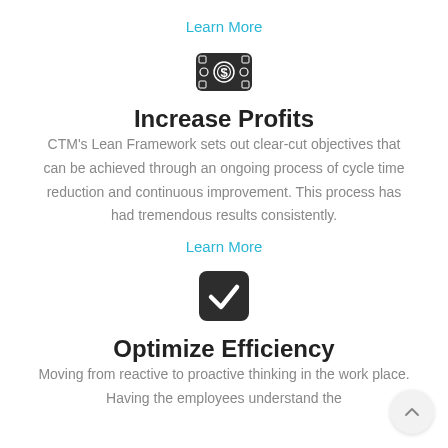Learn More
[Figure (illustration): Dollar bill / money icon in a dark rounded rectangle]
Increase Profits
CTM's Lean Framework sets out clear-cut objectives that can be achieved through an ongoing process of cycle time reduction and continuous improvement. This process has had tremendous results consistently.
Learn More
[Figure (illustration): Checkmark icon in a dark rounded square]
Optimize Efficiency
Moving from reactive to proactive thinking in the work place. Having the employees understand the